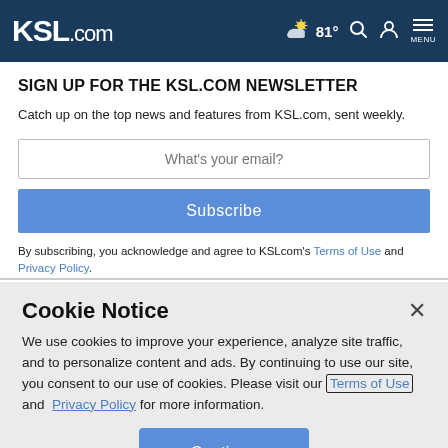KSL.com | 81° | Search | Account | MENU
SIGN UP FOR THE KSL.COM NEWSLETTER
Catch up on the top news and features from KSL.com, sent weekly.
What's your email? [input field]
Subscribe [button]
By subscribing, you acknowledge and agree to KSLcom's Terms of Use and Privacy Policy.
Cookie Notice
We use cookies to improve your experience, analyze site traffic, and to personalize content and ads. By continuing to use our site, you consent to our use of cookies. Please visit our Terms of Use and Privacy Policy for more information.
Continue [button]